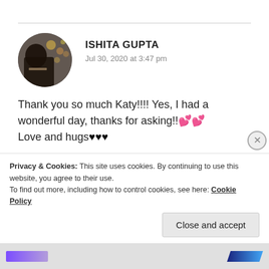[Figure (photo): Circular avatar photo of Ishita Gupta, showing a blurred background with bokeh lights and a person reading/holding a book]
ISHITA GUPTA
Jul 30, 2020 at 3:47 pm
Thank you so much Katy!!!! Yes, I had a wonderful day, thanks for asking!!💕💕 Love and hugs♥♥♥
★ Liked by 1 person
REPLY
Privacy & Cookies: This site uses cookies. By continuing to use this website, you agree to their use.
To find out more, including how to control cookies, see here: Cookie Policy
Close and accept